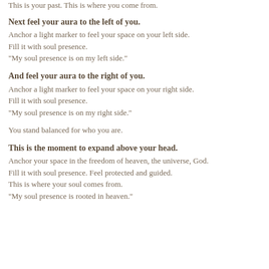This is your past. This is where you come from.
Next feel your aura to the left of you.
Anchor a light marker to feel your space on your left side.
Fill it with soul presence.
“My soul presence is on my left side.”
And feel your aura to the right of you.
Anchor a light marker to feel your space on your right side.
Fill it with soul presence.
“My soul presence is on my right side.”
You stand balanced for who you are.
This is the moment to expand above your head.
Anchor your space in the freedom of heaven, the universe, God.
Fill it with soul presence. Feel protected and guided.
This is where your soul comes from.
“My soul presence is rooted in heaven.”